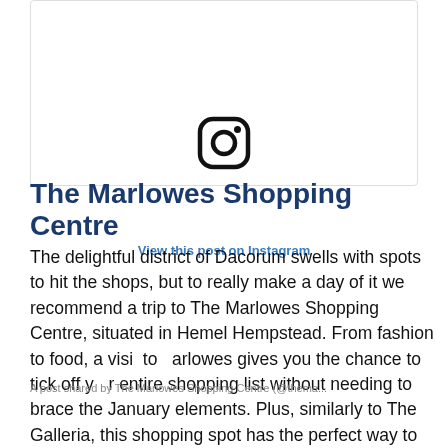[Figure (screenshot): Instagram embed box with Instagram logo icon centered at top]
The Marlowes Shopping Centre
View this post on Instagram
The delightful district of Dacorum swells with spots to hit the shops, but to really make a day of it we recommend a trip to The Marlowes Shopping Centre, situated in Hemel Hempstead. From fashion to food, a visit to Marlowes gives you the chance to tick off your entire shopping list without needing to brace the January elements. Plus, similarly to The Galleria, this shopping spot has the perfect way to reward its customers with its very own (and, completely free) My Marlowe loyalty card. My Marlowe entitles shoppers to exclusive offers and promotions at stores and outlets around the centre. With discounts on coffee and refreshments, offers on fashion and accessories, and
A post shared by The Marlowes Shopping Centre (@thema...